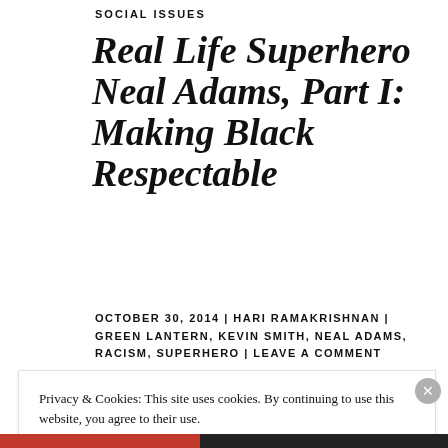SOCIAL ISSUES
Real Life Superhero Neal Adams, Part I: Making Black Respectable
OCTOBER 30, 2014 | HARI RAMAKRISHNAN | GREEN LANTERN, KEVIN SMITH, NEAL ADAMS, RACISM, SUPERHERO | LEAVE A COMMENT
Privacy & Cookies: This site uses cookies. By continuing to use this website, you agree to their use.
To find out more, including how to control cookies, see here: Cookie Policy